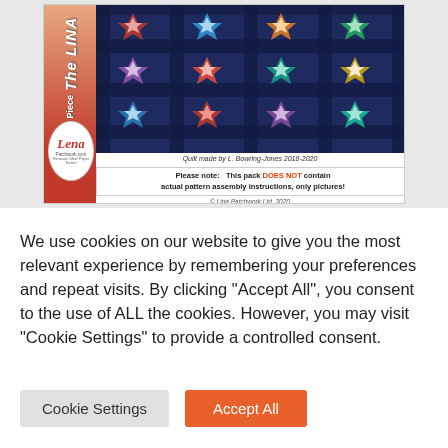[Figure (photo): Product photo of 'The LINA Paper Piecing' quilt pattern pack by Lina Patchwork Ltd, showing a colorful star/flower quilt made by L. Bowring-Jones 2018-2020, with sidebar title, oval logo badge, caption, note box saying the pack does not contain actual pattern assembly instructions only pictures, and copyright notice.]
We use cookies on our website to give you the most relevant experience by remembering your preferences and repeat visits. By clicking “Accept All”, you consent to the use of ALL the cookies. However, you may visit “Cookie Settings” to provide a controlled consent.